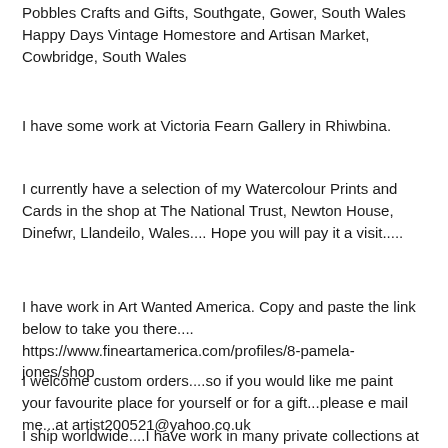Pobbles Crafts and Gifts, Southgate, Gower, South Wales
Happy Days Vintage Homestore and Artisan Market, Cowbridge, South Wales
I have some work at Victoria Fearn Gallery in Rhiwbina.
I currently have a selection of my Watercolour Prints and Cards in the shop at The National Trust, Newton House, Dinefwr, Llandeilo, Wales.... Hope you will pay it a visit.....
I have work in Art Wanted America. Copy and paste the link below to take you there....
https://www.fineartamerica.com/profiles/8-pamela-jones/shop
I welcome custom orders....so if you would like me paint your favourite place for yourself or for a gift...please e mail me...at artist200521@yahoo.co.uk
I ship worldwide....I have work in many private collections at home and overseas.